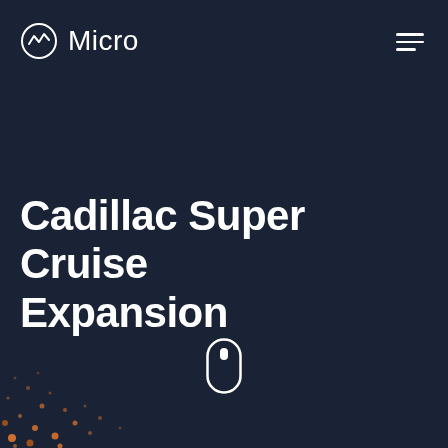Micro
Cadillac Super Cruise Expansion
[Figure (illustration): Scroll down mouse/wheel icon indicator in white outline]